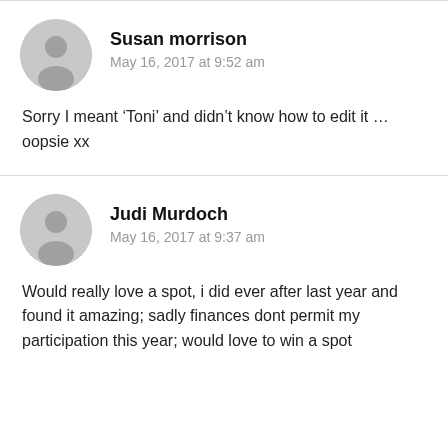Susan morrison
May 16, 2017 at 9:52 am
Sorry I meant ‘Toni’ and didn’t know how to edit it … oopsie xx
Judi Murdoch
May 16, 2017 at 9:37 am
Would really love a spot, i did ever after last year and found it amazing; sadly finances dont permit my participation this year; would love to win a spot